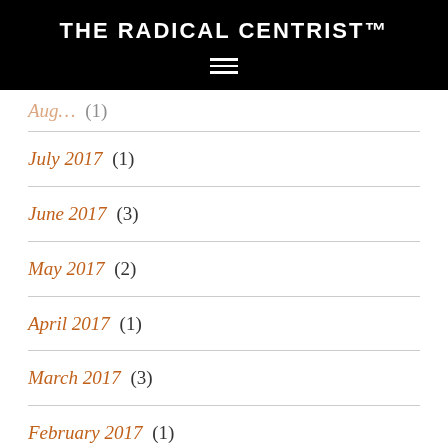THE RADICAL CENTRIST™
August 2017 (1)
July 2017 (1)
June 2017 (3)
May 2017 (2)
April 2017 (1)
March 2017 (3)
February 2017 (1)
January 2017 (3)
December 2016 (3)